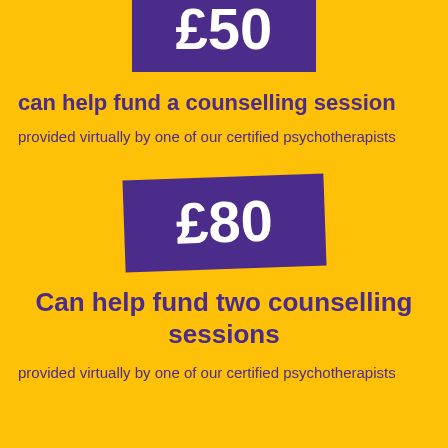[Figure (infographic): Purple rectangle badge with white bold text '£50', slightly visible at top, cropped]
can help fund a counselling session
provided virtually by one of our certified psychotherapists
[Figure (infographic): Purple rectangle badge with white bold text '£80', slightly rotated]
Can help fund two counselling sessions
provided virtually by one of our certified psychotherapists